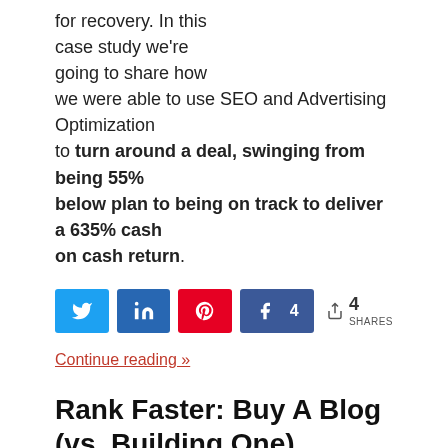for recovery. In this case study we're going to share how we were able to use SEO and Advertising Optimization to turn around a deal, swinging from being 55% below plan to being on track to deliver a 635% cash on cash return.
[Figure (infographic): Social share bar with Twitter, LinkedIn, Pinterest, Facebook buttons and share count of 4]
Continue reading »
Rank Faster: Buy A Blog (vs. Building One)
On June 12, 2019 | By The SEO | In Digital Publishing, Website Investing